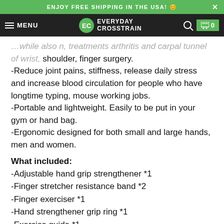ENJOY FREE SHIPPING IN THE USA! 😊
MENU | EVERYDAY CROSSTRAIN | 🔍 | 🛒 0
...while also n, treatments arthritis and carpal tunnel of wrist, shoulder, finger surgery.
-Reduce joint pains, stiffness, release daily stress and increase blood circulation for people who have longtime typing, mouse working jobs.
-Portable and lightweight. Easily to be put in your gym or hand bag.
-Ergonomic designed for both small and large hands, men and women.
What included:
-Adjustable hand grip strengthener *1
-Finger stretcher resistance band *2
-Finger exerciser *1
-Hand strengthener grip ring *1
-Exercise guide *1
-Leather pouch bag *1